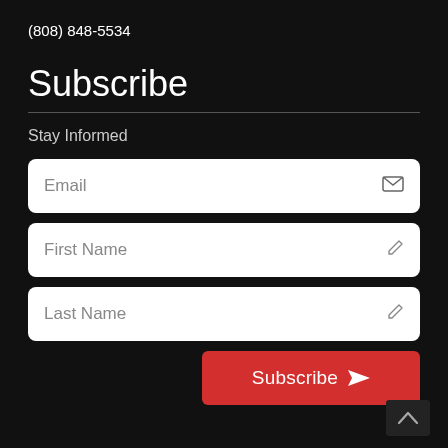(808) 848-5534
Subscribe
Stay Informed
Email
First Name
Last Name
Subscribe